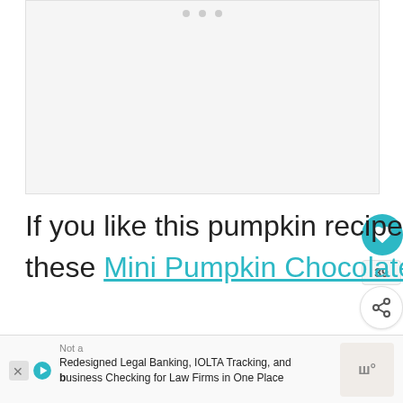[Figure (photo): Image placeholder area with three grey dots at the top suggesting an image carousel or loading state]
If you like this pumpkin recipe, make certain to check out these Mini Pumpkin Chocolate Chip Muffins as well.
Mini Pumpkin Pie Bites
Not a
Redesigned Legal Banking, IOLTA Tracking, and
business Checking for Law Firms in One Place